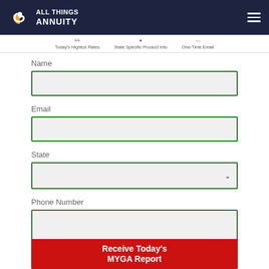ALL THINGS ANNUITY
Today's Highest Rates | State Specific Product Info | One-Time Email
Name
Email
State
Phone Number
Receive Today's MYGA Report